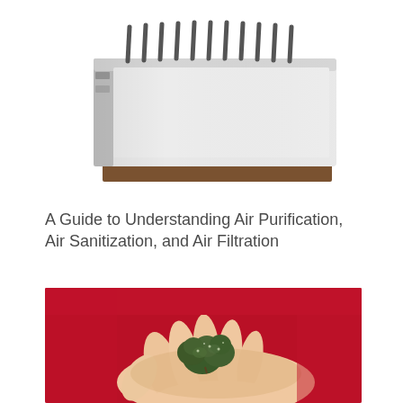[Figure (photo): Air purifier device - white rectangular box with ventilation slits on top, sitting on a wooden base, photographed at an angle from above]
A Guide to Understanding Air Purification, Air Sanitization, and Air Filtration
[Figure (photo): A hand with palm open holding cannabis/marijuana buds against a red background, person wearing a red shirt]